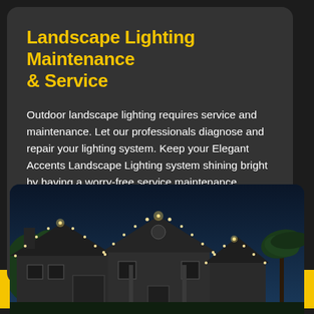Landscape Lighting Maintenance & Service
Outdoor landscape lighting requires service and maintenance. Let our professionals diagnose and repair your lighting system. Keep your Elegant Accents Landscape Lighting system shining bright by having a worry-free service maintenance agreement.
CLICK HERE
[Figure (photo): Night photo of a large house with landscape lighting along the roofline and trees, dark blue sky background]